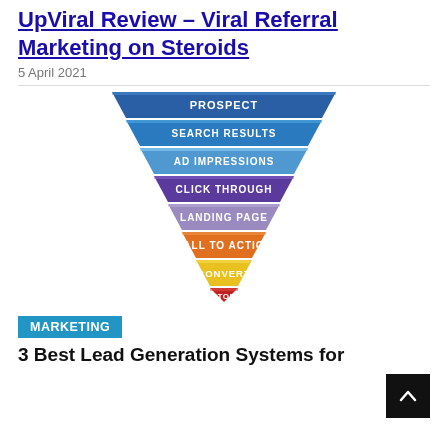UpViral Review – Viral Referral Marketing on Steroids
5 April 2021
[Figure (infographic): Marketing funnel diagram showing stages from top to bottom: PROSPECT (dark blue), SEARCH RESULTS (blue), AD IMPRESSIONS (light blue), CLICK THROUGH (purple), LANDING PAGE (light purple/lavender), CALL TO ACTION (orange), CONVERT (yellow), CUSTOMER (red). Each tier narrows downward forming a triangle/funnel shape.]
MARKETING
3 Best Lead Generation Systems for